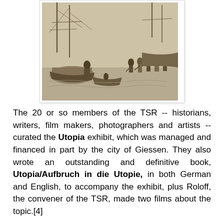[Figure (illustration): Historical engraving or lithograph showing people near boats at a waterfront scene; figures appear to be greeting or parting near ships]
The 20 or so members of the TSR -- historians, writers, film makers, photographers and artists -- curated the Utopia exhibit, which was managed and financed in part by the city of Giessen. They also wrote an outstanding and definitive book, Utopia/Aufbruch in die Utopie, in both German and English, to accompany the exhibit, plus Roloff, the convener of the TSR, made two films about the topic.[4]
The bilingual Utopia exhibit — spanning 3,000 square feet —opened in Giessen in November 2013, then moved to Bremen in April 2014. The exhibit had a brief stay in Washington, D.C. before the full exhibit opened at the Missouri History Museum in St. Louis in November 2014. According to the curators, they wanted the exhibit to convey